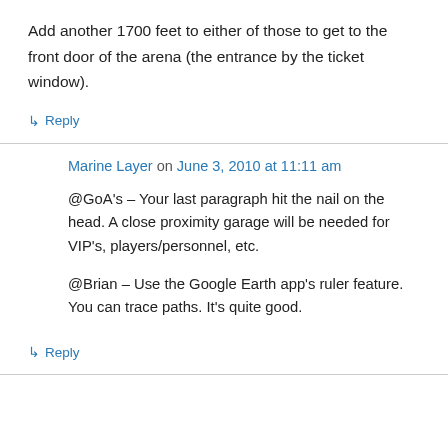Add another 1700 feet to either of those to get to the front door of the arena (the entrance by the ticket window).
↳ Reply
Marine Layer on June 3, 2010 at 11:11 am
@GoA's – Your last paragraph hit the nail on the head. A close proximity garage will be needed for VIP's, players/personnel, etc.
@Brian – Use the Google Earth app's ruler feature. You can trace paths. It's quite good.
↳ Reply